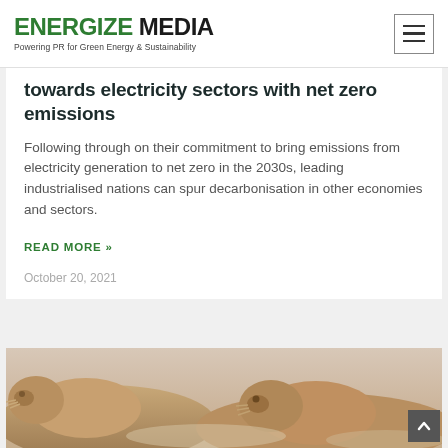ENERGIZE MEDIA — Powering PR for Green Energy & Sustainability
towards electricity sectors with net zero emissions
Following through on their commitment to bring emissions from electricity generation to net zero in the 2030s, leading industrialised nations can spur decarbonisation in other economies and sectors.
READ MORE »
October 20, 2021
[Figure (photo): Photo of walruses resting on what appears to be a beach or ice surface, close-up view showing their faces and bodies.]